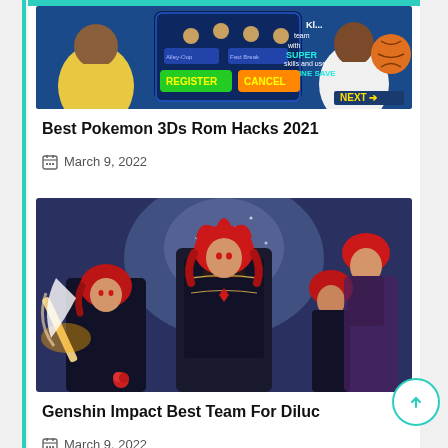[Figure (screenshot): Basketball video game screenshot showing character registration screen with REGISTER and CANCEL buttons, NEXT button, anime-style basketball players]
Best Pokemon 3Ds Rom Hacks 2021
March 9, 2022
[Figure (illustration): Genshin Impact fan art showing multiple versions of Diluc character with red hair in dark armor, anime style illustration]
Genshin Impact Best Team For Diluc
March 9, 2022